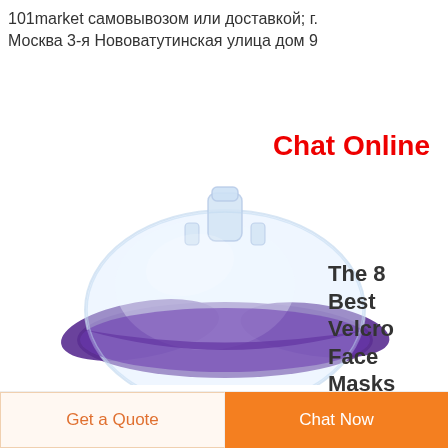101market самовывозом или доставкой; г. Москва 3-я Нововатутинская улица дом 9
Chat Online
[Figure (photo): A clear CPR breathing face mask with a purple silicone rim/seal, viewed from above at an angle, showing a transparent body with a central port/connector at the top.]
The 8 Best Velcro Face Masks
Get a Quote
Chat Now